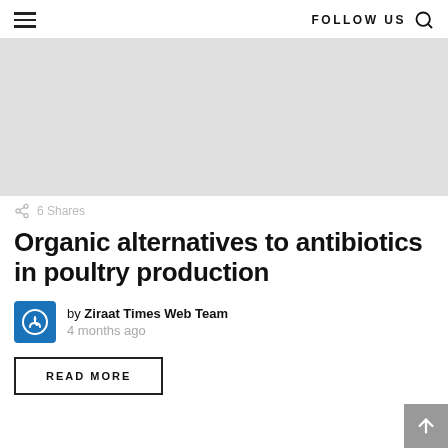≡   FOLLOW US 🔍
[Figure (photo): Large grey placeholder image for article hero]
6 Shares
Organic alternatives to antibiotics in poultry production
by Ziraat Times Web Team
4 months ago
READ MORE